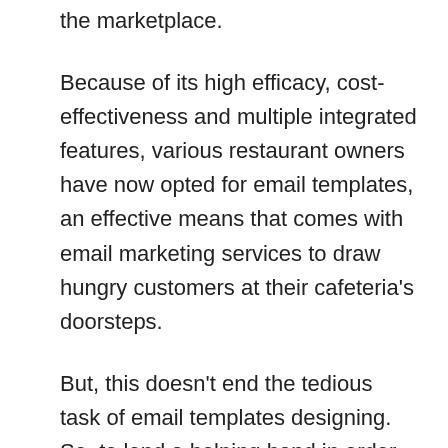the marketplace.
Because of its high efficacy, cost-effectiveness and multiple integrated features, various restaurant owners have now opted for email templates, an effective means that comes with email marketing services to draw hungry customers at their cafeteria's doorsteps.
But, this doesn't end the tedious task of email templates designing. So, to lend a helping hand in order to reduce your workload, we are showcasing our finest, visually attractive and 100% responsive email templates for cafeterias, food points